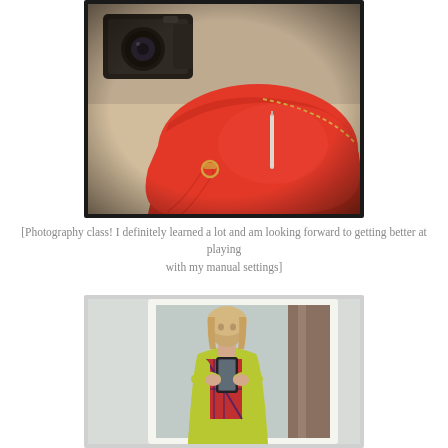[Figure (photo): Photo of a red leather handbag with gold zipper and a black DSLR camera, shot from above on a light surface, with instagram-style dark border and warm tones]
[Photography class!  I definitely learned a lot and am looking forward to getting better at playing with my manual settings]
[Figure (photo): Mirror selfie of a person wearing a yellow-green cardigan over a red plaid shirt, holding a phone, taken in a room with white mirror frame]